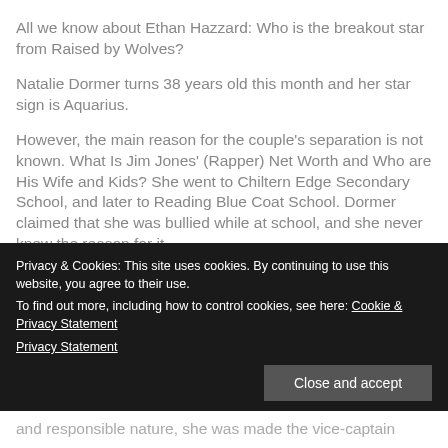All we know about Ethan Hazzard: Who is the breakout star from Raised by Wolves?
Natalie Dormer turns 38 years old this month and her star sign is Aquarius.
However, the main reason for the couple's separation is not known. What Is Jim Jones' (Rapper) Net Worth and Who are His Wife and Kids? She went to Chiltern Edge Secondary School, and later to Reading Blue Coat School. Dormer claimed that she was bullied while at school, and she never knew the reason for it.
Since 2012 she has starred in the TV series Elementary
Privacy & Cookies: This site uses cookies. By continuing to use this website, you agree to their use.
To find out more, including how to control cookies, see here: Cookie & Privacy Statement
Close and accept
and responsible nature, she was made the vice-captain